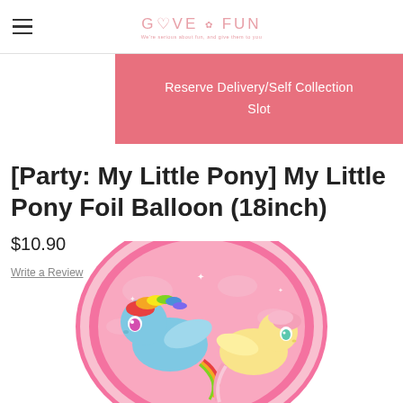GIVE FUN — We're serious about fun, and give them to you
Reserve Delivery/Self Collection Slot
[Party: My Little Pony] My Little Pony Foil Balloon (18inch)
$10.90
Write a Review
[Figure (photo): My Little Pony foil balloon (18 inch), round pink balloon featuring Rainbow Dash and Fluttershy characters from My Little Pony, with pink ruffled border.]